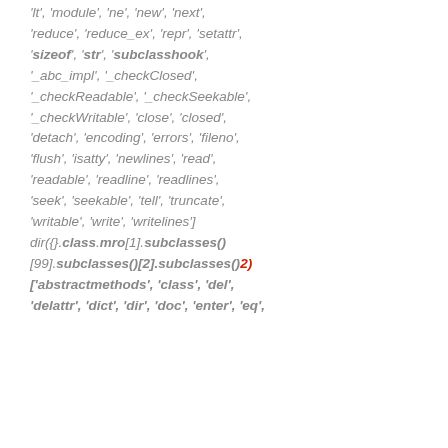'hash', 'init', 'init_subclass', 'iter', 'le', 'lt', 'module', 'ne', 'new', 'next', 'reduce', 'reduce_ex', 'repr', 'setattr', 'sizeof', 'str', 'subclasshook', '_abc_impl', '_checkClosed', '_checkReadable', '_checkSeekable', '_checkWritable', 'close', 'closed', 'detach', 'encoding', 'errors', 'fileno', 'flush', 'isatty', 'newlines', 'read', 'readable', 'readline', 'readlines', 'seek', 'seekable', 'tell', 'truncate', 'writable', 'write', 'writelines'] dir({}.class.mro[1].subclasses()[99].subclasses()[2].subclasses()2['abstractmethods', 'class', 'del', 'delattr', 'dict', 'dir', 'doc', 'enter', 'eq',